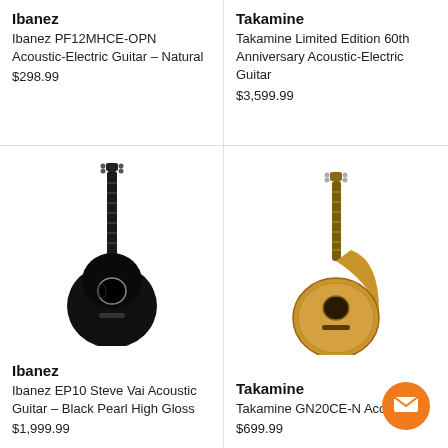Ibanez
Ibanez PF12MHCE-OPN Acoustic-Electric Guitar – Natural
$298.99
Takamine
Takamine Limited Edition 60th Anniversary Acoustic-Electric Guitar
$3,599.99
[Figure (photo): Black Ibanez EP10 Steve Vai acoustic-electric guitar]
[Figure (photo): Natural wood Takamine GN20CE acoustic-electric guitar]
Ibanez
Ibanez EP10 Steve Vai Acoustic Guitar – Black Pearl High Gloss
$1,999.99
Takamine
Takamine GN20CE-N Acoustic
$699.99